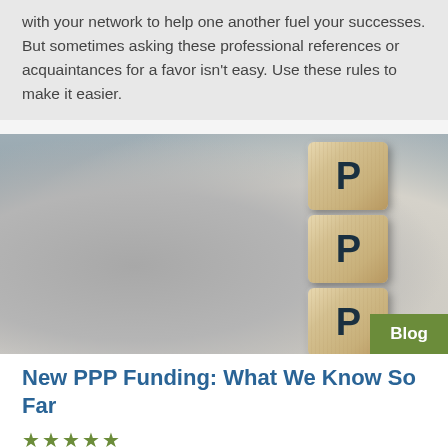with your network to help one another fuel your successes. But sometimes asking these professional references or acquaintances for a favor isn't easy. Use these rules to make it easier.
[Figure (photo): Three stacked wooden blocks each showing the letter P, arranged vertically on a grey surface. The image relates to PPP (Paycheck Protection Program) funding.]
New PPP Funding: What We Know So Far
★★★★★